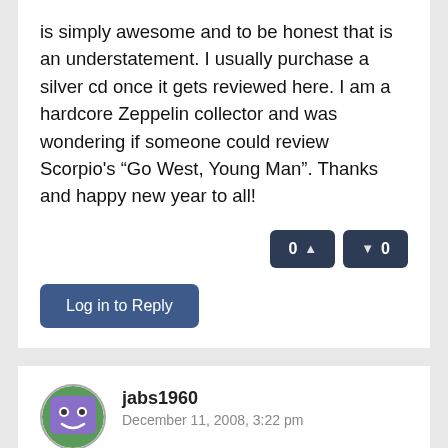is simply awesome and to be honest that is an understatement. I usually purchase a silver cd once it gets reviewed here. I am a hardcore Zeppelin collector and was wondering if someone could review Scorpio’s “Go West, Young Man”. Thanks and happy new year to all!
Log in to Reply
jabs1960
December 11, 2008, 3:22 pm
Hello and Seasons Greetings! Thank you so much for this invaluable site!! I